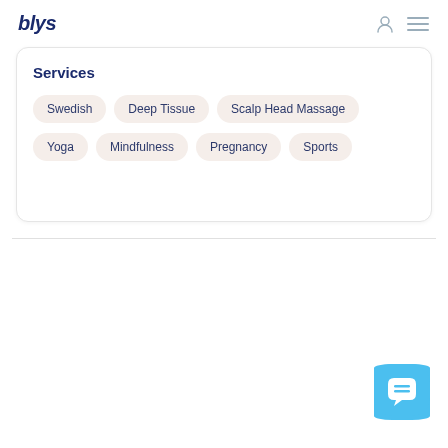blys
Services
Swedish
Deep Tissue
Scalp Head Massage
Yoga
Mindfulness
Pregnancy
Sports
[Figure (other): Blue rounded chat button with speech bubble icon in bottom right corner]